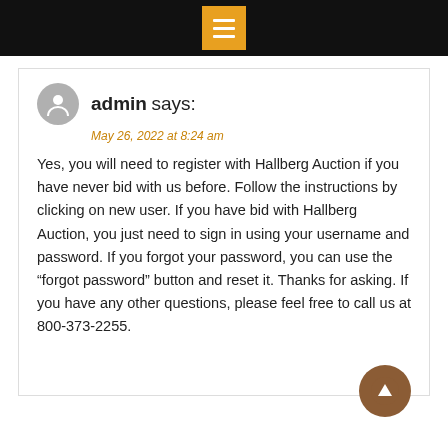[Figure (screenshot): Black top navigation bar with orange hamburger menu icon]
admin says:
May 26, 2022 at 8:24 am
Yes, you will need to register with Hallberg Auction if you have never bid with us before. Follow the instructions by clicking on new user. If you have bid with Hallberg Auction, you just need to sign in using your username and password. If you forgot your password, you can use the “forgot password” button and reset it. Thanks for asking. If you have any other questions, please feel free to call us at 800-373-2255.
Comments are closed.